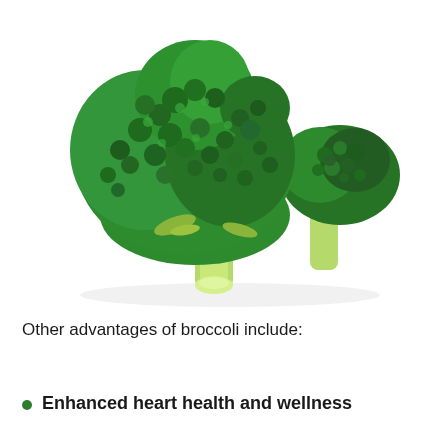[Figure (photo): Photo of two broccoli florets on a white background, showing green rounded heads on pale green stalks.]
Other advantages of broccoli include:
Enhanced heart health and wellness